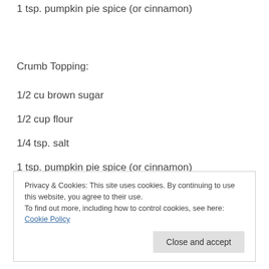1 tsp. pumpkin pie spice (or cinnamon)
Crumb Topping:
1/2 cu brown sugar
1/2 cup flour
1/4 tsp. salt
1 tsp. pumpkin pie spice (or cinnamon)
1/2 cup butter
Privacy & Cookies: This site uses cookies. By continuing to use this website, you agree to their use.
To find out more, including how to control cookies, see here: Cookie Policy